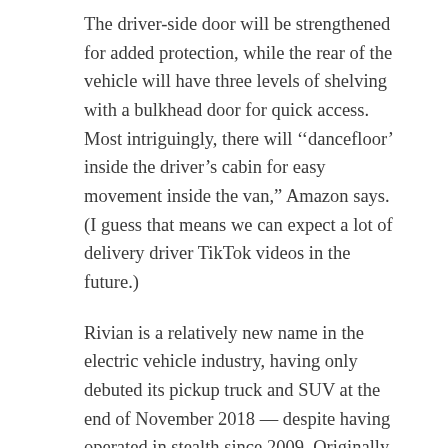The driver-side door will be strengthened for added protection, while the rear of the vehicle will have three levels of shelving with a bulkhead door for quick access. Most intriguingly, there will ‘‘dancefloor’ inside the driver’s cabin for easy movement inside the van,” Amazon says. (I guess that means we can expect a lot of delivery driver TikTok videos in the future.)
Rivian is a relatively new name in the electric vehicle industry, having only debuted its pickup truck and SUV at the end of November 2018 — despite having operated in stealth since 2009. Originally founded to make something that competed with Tesla’s first car, the Lotus-based Roadster, Rivian CEO RJ Scaringe eventually pivoted the company toward a more action-adventure customer segment.